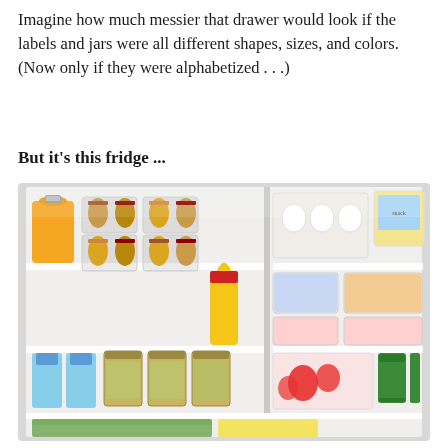Imagine how much messier that drawer would look if the labels and jars were all different shapes, sizes, and colors. (Now only if they were alphabetized . . .)
But it's this fridge ...
[Figure (photo): A well-organized open refrigerator showing neatly arranged items including a large bottle of orange juice, wine bottle racks with multiple bottles, eggs in a holder, various clear plastic storage containers with lids holding condiments and food items, mason jars with pickled vegetables, small canned beverages, strawberries and fruits in a clear bin, and green vegetables in the bottom drawer. Everything is arranged on white shelves inside the fridge.]